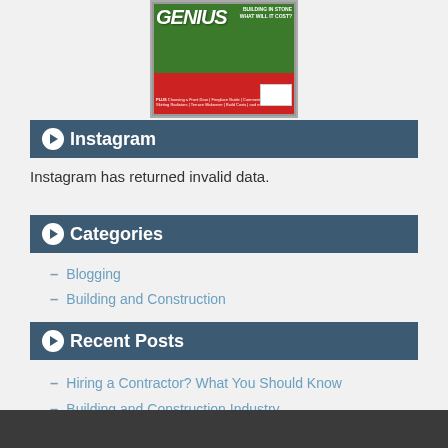[Figure (photo): Magazine cover showing 'GENIUS' title text on green background with red strip at bottom, barcode visible]
Instagram
Instagram has returned invalid data.
Categories
Blogging
Building and Construction
Recent Posts
Hiring a Contractor? What You Should Know
Building and Construction Industry